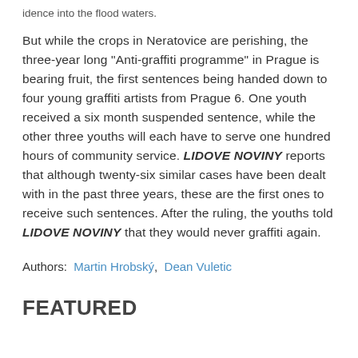idence into the flood waters.
But while the crops in Neratovice are perishing, the three-year long "Anti-graffiti programme" in Prague is bearing fruit, the first sentences being handed down to four young graffiti artists from Prague 6. One youth received a six month suspended sentence, while the other three youths will each have to serve one hundred hours of community service. LIDOVE NOVINY reports that although twenty-six similar cases have been dealt with in the past three years, these are the first ones to receive such sentences. After the ruling, the youths told LIDOVE NOVINY that they would never graffiti again.
Authors: Martin Hrobský, Dean Vuletic
FEATURED